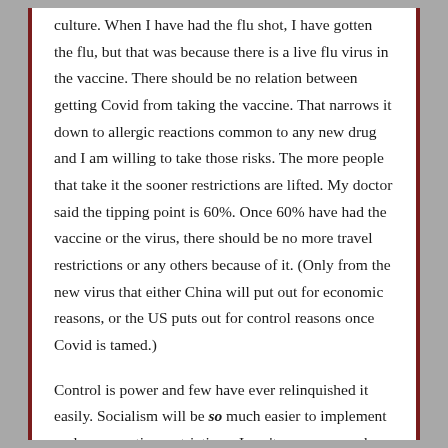culture.  When I have had the flu shot, I have gotten the flu, but that was because there is a live flu virus in the vaccine.  There should be no relation between getting Covid from taking the vaccine.  That narrows it down to allergic reactions common to any new drug and I am willing to take those risks.  The more people that take it the sooner restrictions are lifted.  My doctor said the tipping point is 60%.  Once 60% have had the vaccine or the virus, there should be no more travel restrictions or any others because of it.  (Only from the new virus that either China will put out for economic reasons, or the US puts out for control reasons once Covid is tamed.)
Control is power and few have ever relinquished it easily.  Socialism will be so much easier to implement under quarantine restrictions.  I can't even express how fortunate I believe we have been to have